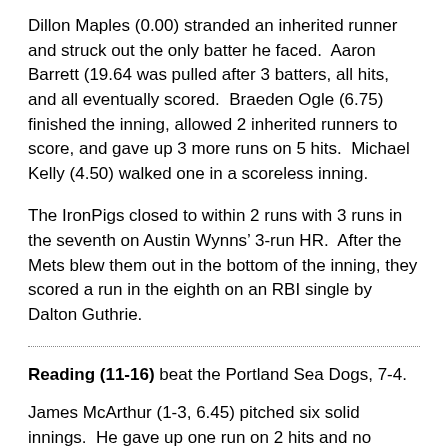Dillon Maples (0.00) stranded an inherited runner and struck out the only batter he faced.  Aaron Barrett (19.64 was pulled after 3 batters, all hits, and all eventually scored.  Braeden Ogle (6.75) finished the inning, allowed 2 inherited runners to score, and gave up 3 more runs on 5 hits.  Michael Kelly (4.50) walked one in a scoreless inning.
The IronPigs closed to within 2 runs with 3 runs in the seventh on Austin Wynns’ 3-run HR.  After the Mets blew them out in the bottom of the inning, they scored a run in the eighth on an RBI single by Dalton Guthrie.
Reading (11-16) beat the Portland Sea Dogs, 7-4.
James McArthur (1-3, 6.45) pitched six solid innings.  He gave up one run on 2 hits and no walks.  He struck out five.  Nick Lackney (18.90) got one out and gave up 3 runs on a hit and 2 walks.  The hit was a 3-run HR.  Braden Zarbnisky